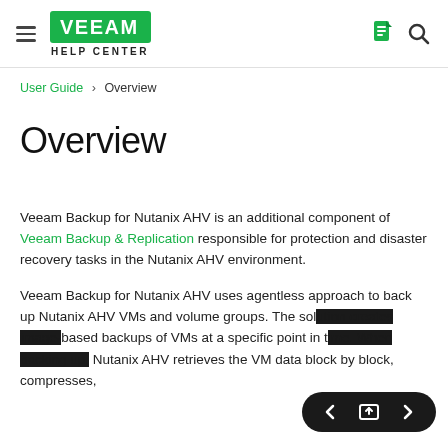Veeam Help Center
User Guide > Overview
Overview
Veeam Backup for Nutanix AHV is an additional component of Veeam Backup & Replication responsible for protection and disaster recovery tasks in the Nutanix AHV environment.
Veeam Backup for Nutanix AHV uses agentless approach to back up Nutanix AHV VMs and volume groups. The solution creates image-based backups of VMs at a specific point in time. When backing up, Nutanix AHV retrieves the VM data block by block, compresses,